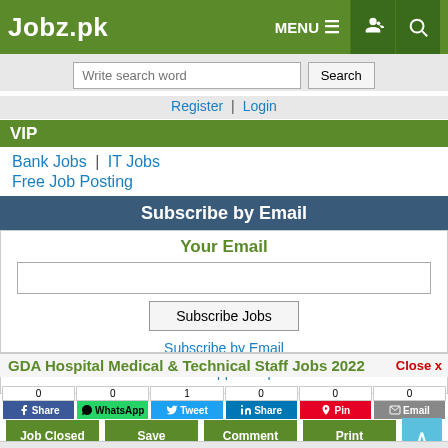Jobz.pk
Write search word | Search
Register | Login
VIP
Bank Jobs | IT Jobs
Free Job Posting
Subscribe by Email
Your Email
Subscribe Jobs
Subscribe by Email
Jobs Whatsapp Group Links
GDA Hospital Medical & Technical Staff Jobs 2022
0 Share | 0 WhatsApp | 1 Tweet | 0 Share | 0 Pin | 0 Email
Job Closed | Save | Comment | Print